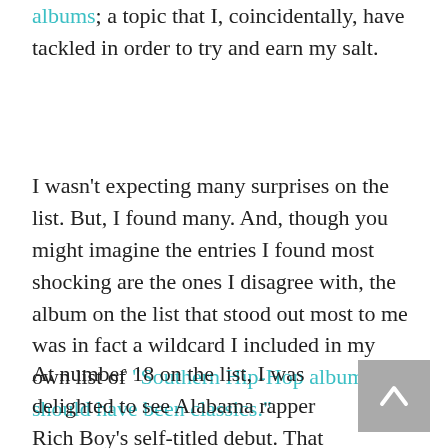albums; a topic that I, coincidentally, have tackled in order to try and earn my salt.
I wasn't expecting many surprises on the list. But, I found many. And, though you might imagine the entries I found most shocking are the ones I disagree with, the album on the list that stood out most to me was in fact a wildcard I included in my own list of "Southern Hip-Hop albums that should have been classics."
At number 18 on the list, I was delighted to see Alabama rapper Rich Boy's self-titled debut. That was, until I read the commentary. The Ringer editor Chris Ryan gets right to the point when